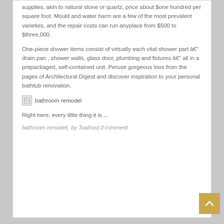supplies, akin to natural stone or quartz, price about $one hundred per square foot. Mould and water harm are a few of the most prevalent varieties, and the repair costs can run anyplace from $500 to $three,000.
One-piece shower items consist of virtually each vital shower part â€" drain pan , shower walls, glass door, plumbing and fixtures â€" all in a prepackaged, self-contained unit. Peruse gorgeous loos from the pages of Architectural Digest and discover inspiration to your personal bathtub renovation.
[Figure (photo): Broken image placeholder labeled 'bathroom remodel']
Right here, every little thing it is ...
bathroom remodel|  by Toaihvu| 0 comment